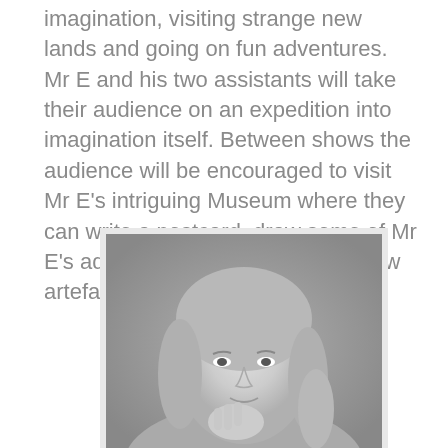imagination, visiting strange new lands and going on fun adventures. Mr E and his two assistants will take their audience on an expedition into imagination itself. Between shows the audience will be encouraged to visit Mr E's intriguing Museum where they can write a postcard, draw some of Mr E's adventures, or help create a new artefact or creature.
[Figure (photo): Black and white portrait photograph of a young woman with long blonde wavy hair, resting her chin on her hand and smiling gently at the camera.]